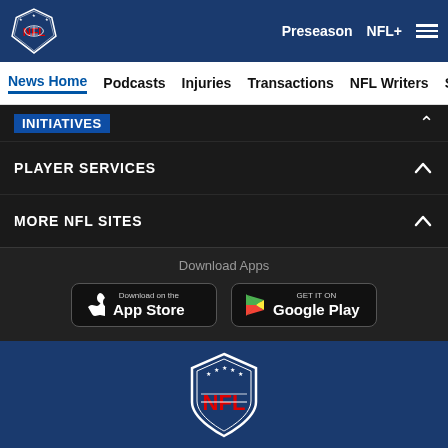[Figure (logo): NFL shield logo in header, small white version]
Preseason   NFL+   ☰
News Home   Podcasts   Injuries   Transactions   NFL Writers   Se
INITIATIVES
PLAYER SERVICES
MORE NFL SITES
Download Apps
[Figure (logo): Apple App Store download button]
[Figure (logo): Google Play download button]
[Figure (logo): Large NFL shield logo centered on dark blue background]
[Figure (infographic): Social share icons: Facebook, Twitter, Email, Link]